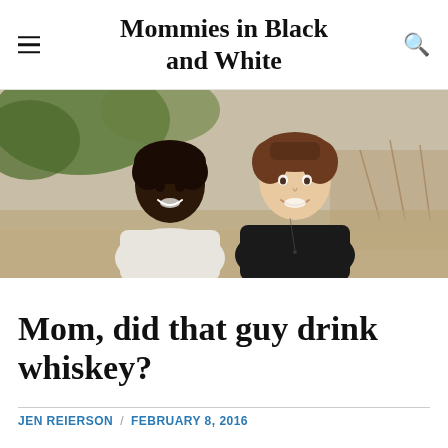Mommies in Black and White
[Figure (photo): Two women smiling outdoors in a natural setting — one Black woman in a white top on the left, one white woman in a black top on the right. Trees and dry brush visible in background.]
Mom, did that guy drink whiskey?
JEN REIERSON / FEBRUARY 8, 2016